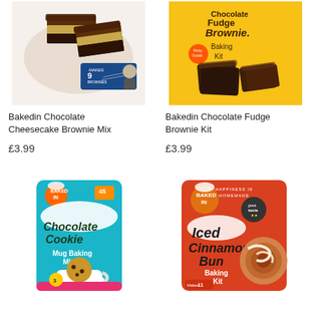[Figure (photo): Bakedin Chocolate Cheesecake Brownie Mix product box showing layered chocolate cheesecake brownies and Michel Roux branding]
Bakedin Chocolate Cheesecake Brownie Mix
£3.99
[Figure (photo): Bakedin Chocolate Fudge Brownie Kit product box in yellow with chocolate brownie pieces and Baked In logo]
Bakedin Chocolate Fudge Brownie Kit
£3.99
[Figure (photo): Baked In Chocolate Cookie Mug Baking Mix product box in teal/blue with cookie and mug illustration]
[Figure (photo): Baked In Iced Cinnamon Bun Baking Kit product box in orange with iced cinnamon bun imagery]